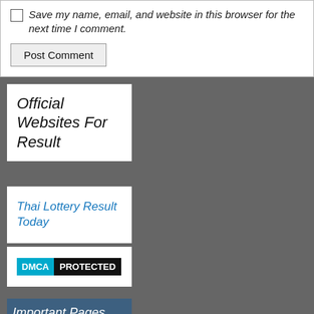Save my name, email, and website in this browser for the next time I comment.
Post Comment
Official Websites For Result
Thai Lottery Result Today
[Figure (logo): DMCA PROTECTED badge with cyan DMCA and black PROTECTED labels]
Important Pages
About Us
Disclaimers